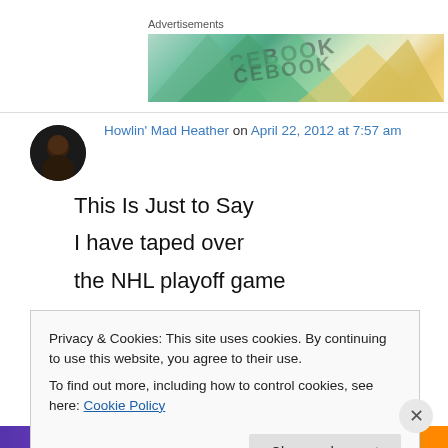Advertisements
[Figure (illustration): Advertisement banner showing colorful overlapping geometric shapes with partial text 'FACEBOOK' visible]
Howlin' Mad Heather on April 22, 2012 at 7:57 am
This Is Just to Say
I have taped over
the NHL playoff game
Privacy & Cookies: This site uses cookies. By continuing to use this website, you agree to their use.
To find out more, including how to control cookies, see here: Cookie Policy
Close and accept